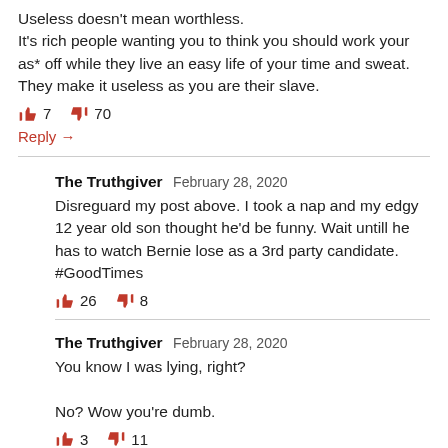Useless doesn't mean worthless.
It's rich people wanting you to think you should work your as* off while they live an easy life of your time and sweat. They make it useless as you are their slave.
👍 7   👎 70
Reply →
The Truthgiver  February 28, 2020
Disreguard my post above. I took a nap and my edgy 12 year old son thought he'd be funny. Wait untill he has to watch Bernie lose as a 3rd party candidate. #GoodTimes
👍 26   👎 8
The Truthgiver  February 28, 2020
You know I was lying, right?
No? Wow you're dumb.
👍 3   👎 11